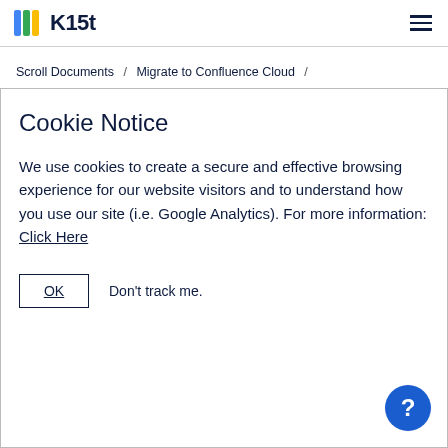K15t
Scroll Documents / Migrate to Confluence Cloud /
Migration Path
Cookie Notice
We use cookies to create a secure and effective browsing experience for our website visitors and to understand how you use our site (i.e. Google Analytics). For more information:
Click Here
OK   Don't track me.